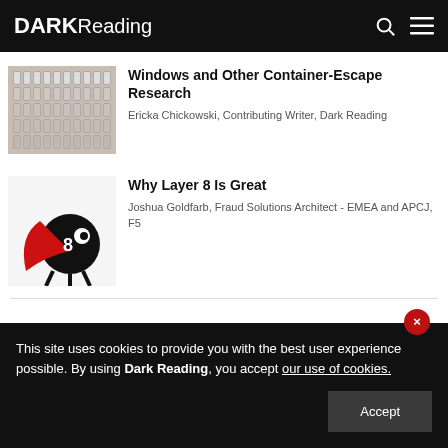DARK Reading
[Figure (photo): Keyboard keys close-up thumbnail]
Windows and Other Container-Escape Research
Ericka Chickowski, Contributing Writer, Dark Reading
[Figure (illustration): Cartoon bug mascot with red cape on white background]
Why Layer 8 Is Great
Joshua Goldfarb, Fraud Solutions Architect - EMEA and APCJ, F5
This site uses cookies to provide you with the best user experience possible. By using Dark Reading, you accept our use of cookies.